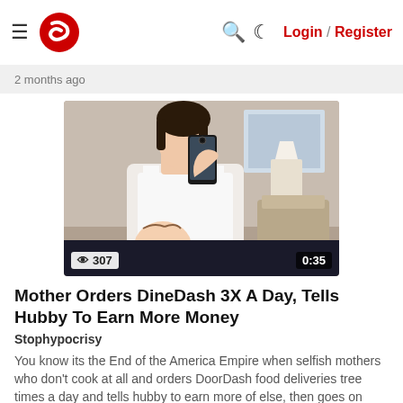≡ [Logo] 🔍 ☾ Login / Register
2 months ago
[Figure (photo): Woman in white tank top taking a mirror selfie with a smartphone, a baby/toddler visible in foreground, bedroom setting with lamp and chair in background. Video overlay showing 307 views and 0:35 duration.]
Mother Orders DineDash 3X A Day, Tells Hubby To Earn More Money
Stophypocrisy
You know its the End of the America Empire when selfish mothers who don't cook at all and orders DoorDash food deliveries tree times a day and tells hubby to earn more of else, then goes on vacation with kids using Credit Cards
1 month ago